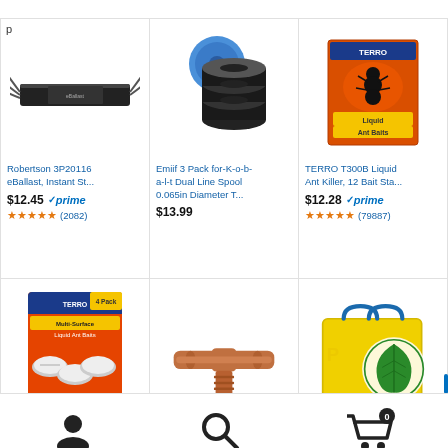p
[Figure (photo): Robertson 3P20116 eBallast product image - long black rectangular device with wires]
Robertson 3P20116 eBallast, Instant St...
$12.45 ✓prime (2082)
[Figure (photo): Emiif 3 Pack for-K-o-b-a-l-t Dual Line Spool replacement string trimmer spools - black spools with blue cap]
Emiif 3 Pack for-K-o-b-a-l-t Dual Line Spool 0.065in Diameter T...
$13.99
[Figure (photo): TERRO T300B Liquid Ant Bait product box - orange packaging]
TERRO T300B Liquid Ant Killer, 12 Bait Sta...
$12.28 ✓prime (79887)
[Figure (photo): TERRO Multi-Surface Liquid Ant Baits box with bait stations]
[Figure (photo): Brown T-shaped drip irrigation barbed fitting connector]
[Figure (photo): Yellow fertilizer bag with green leaf logo]
[Figure (illustration): Person/user account icon]
[Figure (illustration): Search magnifying glass icon]
[Figure (illustration): Shopping cart icon with badge showing 0]